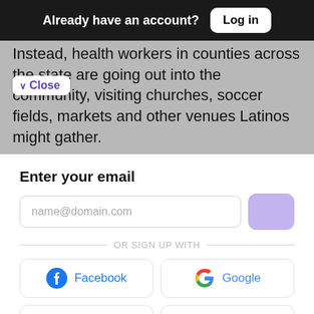Already have an account? Log in
Instead, health workers in counties across the state are going out into the community, visiting churches, soccer fields, markets and other venues Latinos might gather.
Close
Enter your email
name@domain.com
OR SIGN UP WITH
Facebook
Google
Linkedin
Twitter
Member profiles are powered by Pico. By signing up, you agree to Pico's Terms.